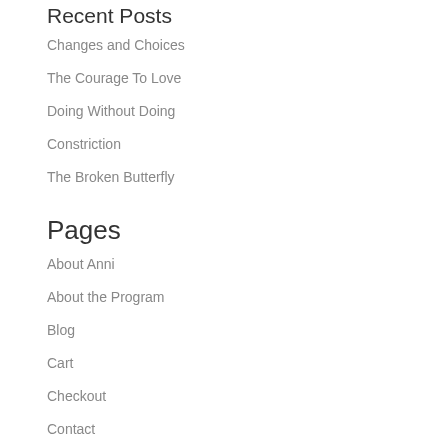Recent Posts
Changes and Choices
The Courage To Love
Doing Without Doing
Constriction
The Broken Butterfly
Pages
About Anni
About the Program
Blog
Cart
Checkout
Contact
Home